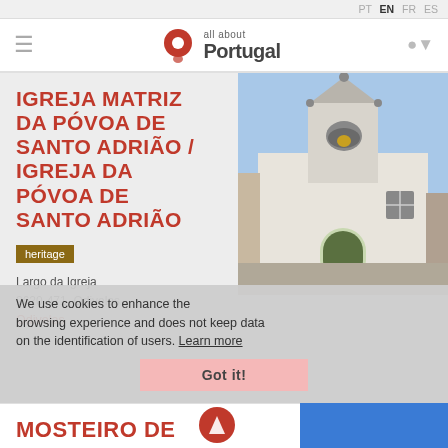PT EN FR ES
[Figure (logo): All About Portugal logo with red location pin icon and text 'all about Portugal']
IGREJA MATRIZ DA PÓVOA DE SANTO ADRIÃO / IGREJA DA PÓVOA DE SANTO ADRIÃO
[Figure (photo): Photograph of a white Portuguese church (Igreja Matriz da Póvoa de Santo Adrião) with a bell tower and ornate doorway under a blue sky]
heritage
Largo da Igreja
2620-471, Odivelas
Odivelas
We use cookies to enhance the browsing experience and does not keep data on the identification of users. Learn more
Got it!
MOSTEIRO DE